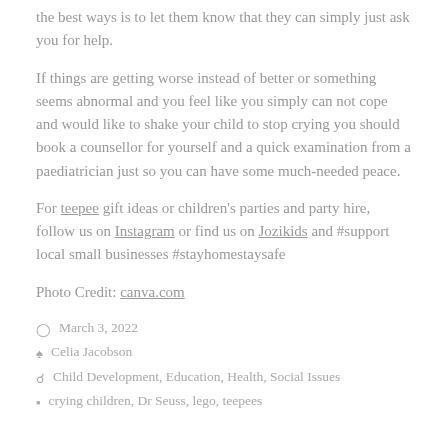the best ways is to let them know that they can simply just ask you for help.
If things are getting worse instead of better or something seems abnormal and you feel like you simply can not cope and would like to shake your child to stop crying you should book a counsellor for yourself and a quick examination from a paediatrician just so you can have some much-needed peace.
For teepee gift ideas or children's parties and party hire, follow us on Instagram or find us on Jozikids and #support local small businesses #stayhomestaysafe
Photo Credit: canva.com
March 3, 2022
Celia Jacobson
Child Development, Education, Health, Social Issues
crying children, Dr Seuss, lego, teepees